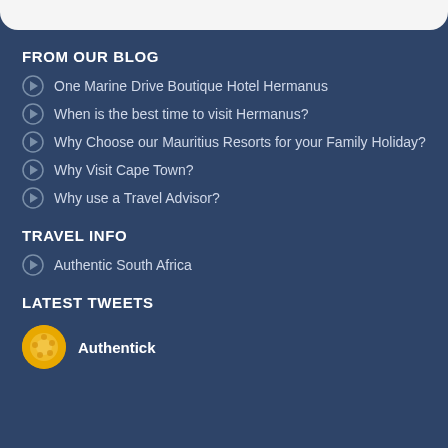FROM OUR BLOG
One Marine Drive Boutique Hotel Hermanus
When is the best time to visit Hermanus?
Why Choose our Mauritius Resorts for your Family Holiday?
Why Visit Cape Town?
Why use a Travel Advisor?
TRAVEL INFO
Authentic South Africa
LATEST TWEETS
Authentick